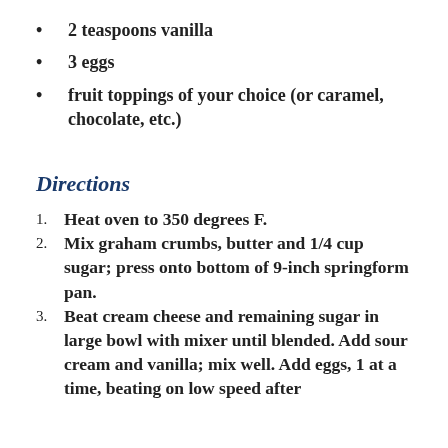2 teaspoons vanilla
3 eggs
fruit toppings of your choice (or caramel, chocolate, etc.)
Directions
Heat oven to 350 degrees F.
Mix graham crumbs, butter and 1/4 cup sugar; press onto bottom of 9-inch springform pan.
Beat cream cheese and remaining sugar in large bowl with mixer until blended. Add sour cream and vanilla; mix well. Add eggs, 1 at a time, beating on low speed after